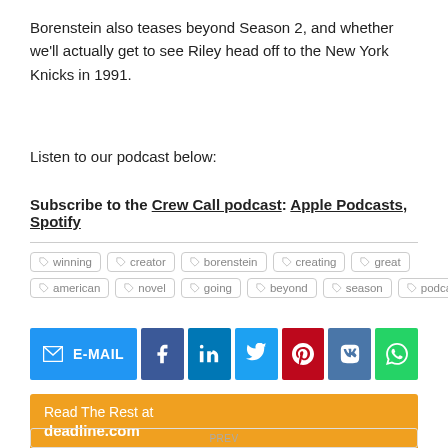Borenstein also teases beyond Season 2, and whether we'll actually get to see Riley head off to the New York Knicks in 1991.
Listen to our podcast below:
Subscribe to the Crew Call podcast: Apple Podcasts, Spotify
winning
creator
borenstein
creating
great
american
novel
going
beyond
season
podcast
E-MAIL
Read The Rest at deadline.com